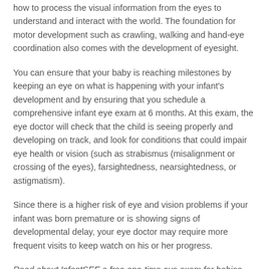how to process the visual information from the eyes to understand and interact with the world. The foundation for motor development such as crawling, walking and hand-eye coordination also comes with the development of eyesight.
You can ensure that your baby is reaching milestones by keeping an eye on what is happening with your infant's development and by ensuring that you schedule a comprehensive infant eye exam at 6 months. At this exam, the eye doctor will check that the child is seeing properly and developing on track, and look for conditions that could impair eye health or vision (such as strabismus (misalignment or crossing of the eyes), farsightedness, nearsightedness, or astigmatism).
Since there is a higher risk of eye and vision problems if your infant was born premature or is showing signs of developmental delay, your eye doctor may require more frequent visits to keep watch on his or her progress.
Read about InfantSEE a free one-time eye exam for babies.